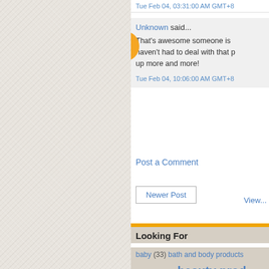Tue Feb 04, 03:31:00 AM GMT+8
Unknown said...
That's awesome someone is haven't had to deal with that p up more and more!
Tue Feb 04, 10:06:00 AM GMT+8
Post a Comment
Newer Post
View...
Looking For
baby (33) bath and body products
cushion (10) beauty prod campaign (202) Brazilia...